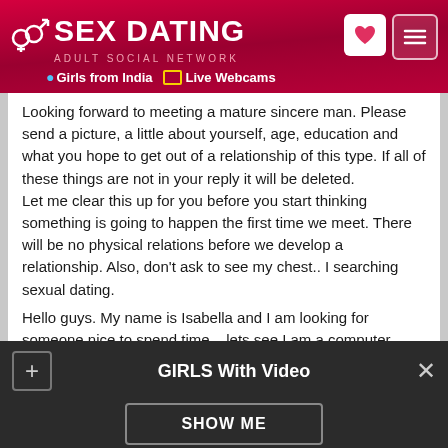SEX DATING – ADULT SOCIAL NETWORK | Girls from India | Live Webcams
Looking forward to meeting a mature sincere man. Please send a picture, a little about yourself, age, education and what you hope to get out of a relationship of this type. If all of these things are not in your reply it will be deleted.
Let me clear this up for you before you start thinking something is going to happen the first time we meet. There will be no physical relations before we develop a relationship. Also, don't ask to see my chest.. I searching sexual dating.
Hello guys. My name is Isabella and I am looking for someone nice to spend time. . lets see I am a computer tech,Divorced with no kids I am looking for a smart,
GIRLS With Video
SHOW ME